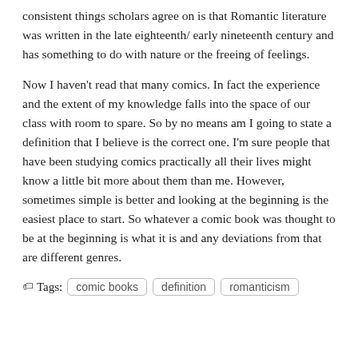consistent things scholars agree on is that Romantic literature was written in the late eighteenth/ early nineteenth century and has something to do with nature or the freeing of feelings.
Now I haven't read that many comics. In fact the experience and the extent of my knowledge falls into the space of our class with room to spare. So by no means am I going to state a definition that I believe is the correct one. I'm sure people that have been studying comics practically all their lives might know a little bit more about them than me. However, sometimes simple is better and looking at the beginning is the easiest place to start. So whatever a comic book was thought to be at the beginning is what it is and any deviations from that are different genres.
Tags: comic books | definition | romanticism